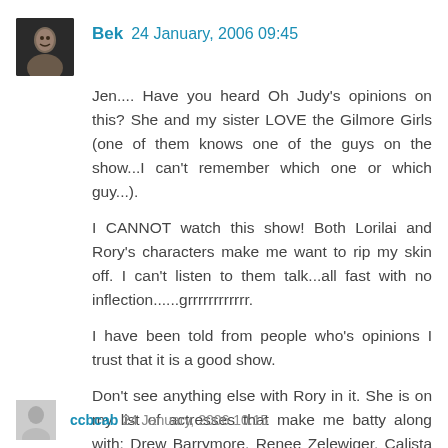[Figure (photo): Small square avatar/profile photo of a person, dark background]
Bek 24 January, 2006 09:45
Jen.... Have you heard Oh Judy's opinions on this? She and my sister LOVE the Gilmore Girls (one of them knows one of the guys on the show...I can't remember which one or which guy...).
I CANNOT watch this show! Both Lorilai and Rory's characters make me want to rip my skin off. I can't listen to them talk...all fast with no inflection......grrrrrrrrrrrr.
I have been told from people who's opinions I trust that it is a good show.
Don't see anything else with Rory in it. She is on my list of actresses that make me batty along with: Drew Barrymore, Renee Zelewiger, Calista Flockhart and other assorted squinty, whiny starlets.
Reply
ccbcab 24 January, 2006 10:15